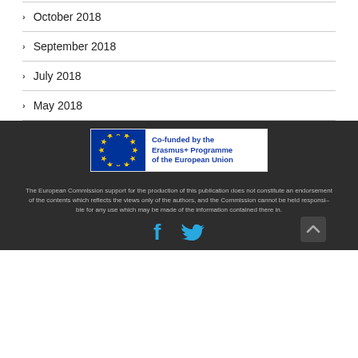October 2018
September 2018
July 2018
May 2018
[Figure (logo): Co-funded by the Erasmus+ Programme of the European Union badge with EU flag]
The European Commission support for the production of this publication does not constitute an endorsement of the contents which reflects the views only of the authors, and the Commission cannot be held responsi–ble for any use which may be made of the information contained there in.
[Figure (other): Facebook and Twitter social media icons and a scroll-to-top button]